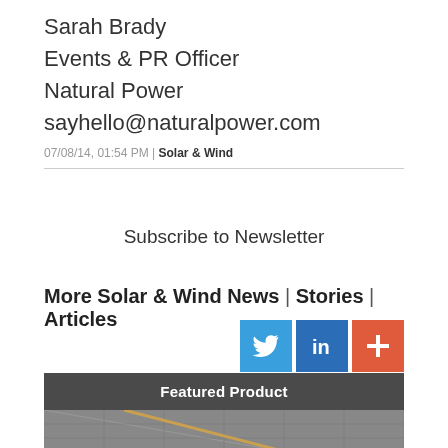Sarah Brady
Events & PR Officer
Natural Power
sayhello@naturalpower.com
07/08/14, 01:54 PM | Solar & Wind
Subscribe to Newsletter
More Solar & Wind News | Stories | Articles
[Figure (infographic): Social media icons: Twitter (blue bird), LinkedIn (in), and a red plus button]
Featured Product
[Figure (photo): Close-up photo of solar panels with visible frame and textured surface]